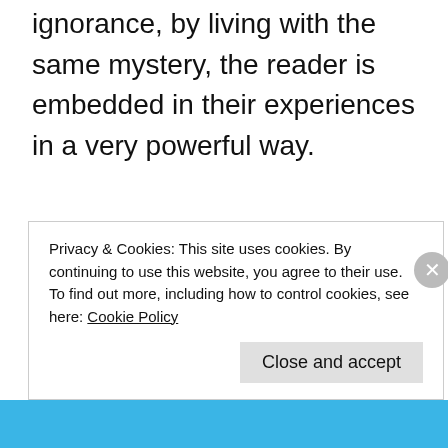ignorance, by living with the same mystery, the reader is embedded in their experiences in a very powerful way.
The book would be substantially reduced if it provided more clarity.
If there's a weakness to this novel, it's that the
Privacy & Cookies: This site uses cookies. By continuing to use this website, you agree to their use.
To find out more, including how to control cookies, see here: Cookie Policy
Close and accept